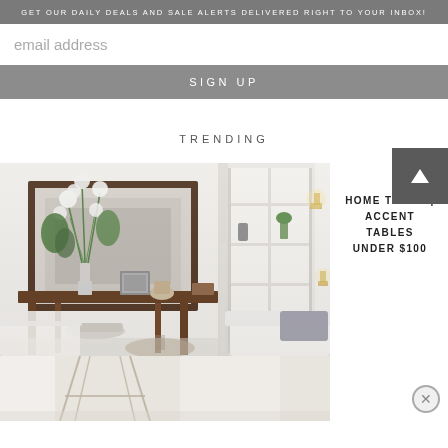GET OUR DAILY DEALS AND SALE ALERTS DELIVERED RIGHT TO YOUR INBOX!
email address
SIGN UP
TRENDING
[Figure (photo): Interior room photo showing a dark wood accent table with white floral arrangement, framed artwork, decorative items, white armchairs, and a bookcase/cabinet in background]
HOME TREND | ACCENT TABLES UNDER $100